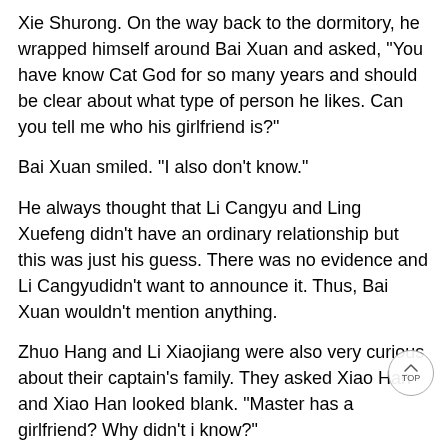Xie Shurong. On the way back to the dormitory, he wrapped himself around Bai Xuan and asked, “You have know Cat God for so many years and should be clear about what type of person he likes. Can you tell me who his girlfriend is?”
Bai Xuan smiled. “I also don’t know.”
He always thought that Li Cangyu and Ling Xuefeng didn’t have an ordinary relationship but this was just his guess. There was no evidence and Li Cangyudidn’t want to announce it. Thus, Bai Xuan wouldn’t mention anything.
Zhuo Hang and Li Xiaojiang were also very curious about their captain’s family. They asked Xiao Han and Xiao Han looked blank. “Master has a girlfriend? Why didn’t i know?”
Only Uncle Zhang was calm about this. He had an expression of ‘it doesn’t matter’ and ran to his studio to process orders. He had been busy a season and wanted to relax by doing his old work for a few days.
Li Cangyu took the attitude of ‘ignoring’ his teammates’ curious eyes. He only needed to be a good captain and it wasn’t necessary to explain personal feelings to his